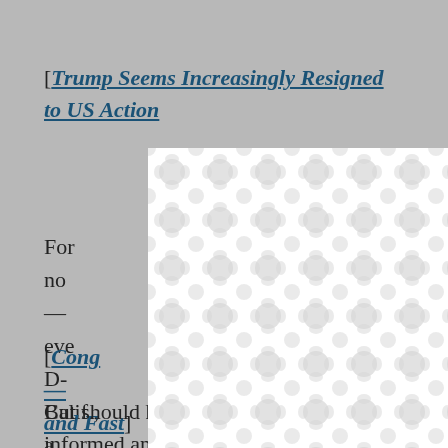[Trump Seems Increasingly Resigned to US Action...
[Figure (other): Modal dialog overlay with decorative bubble/chain-link pattern background (white and light gray), with an X close button in the top right corner.]
For now... rs — even... i, D-Calif., a... E. Schum... major milita...
[Cong... licy — and Fast]
But should he not keep them more informed and